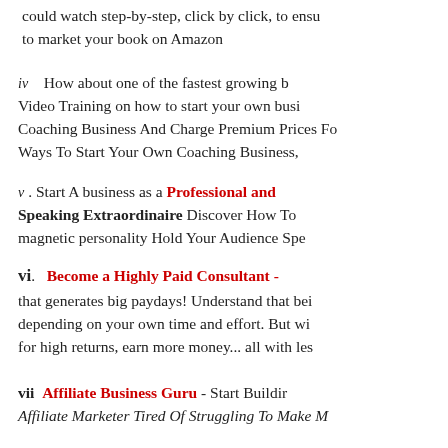could watch step-by-step, click by click, to ensure to market your book on Amazon
iv   How about one of the fastest growing b... Video Training on how to start your own busi... Coaching Business And Charge Premium Prices Fo... Ways To Start Your Own Coaching Business,
v. Start A business as a Professional and Speaking Extraordinaire Discover How To ... magnetic personality Hold Your Audience Spe...
vi.   Become a Highly Paid Consultant - ... that generates big paydays! Understand that bei... depending on your own time and effort. But wi... for high returns, earn more money... all with les...
vii   Affiliate Business Guru - Start Buildir... Affiliate Marketer Tired Of Struggling To Make M...